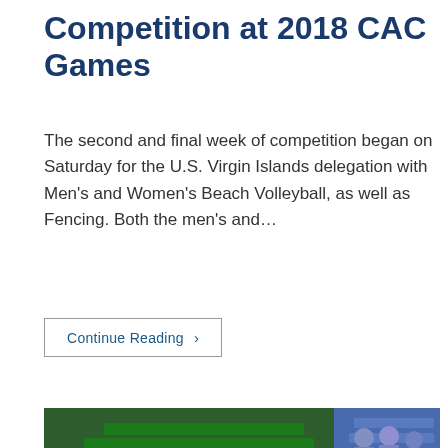Competition at 2018 CAC Games
The second and final week of competition began on Saturday for the U.S. Virgin Islands delegation with Men's and Women's Beach Volleyball, as well as Fencing. Both the men's and…
Continue Reading ›
[Figure (photo): Basketball game photo showing female players on court. One player in white uniform dribbles the ball while another in dark uniform defends. A banner reading 'ALCALDÍA DE BARRANQUILL' is visible in the background, along with spectators in the stands.]